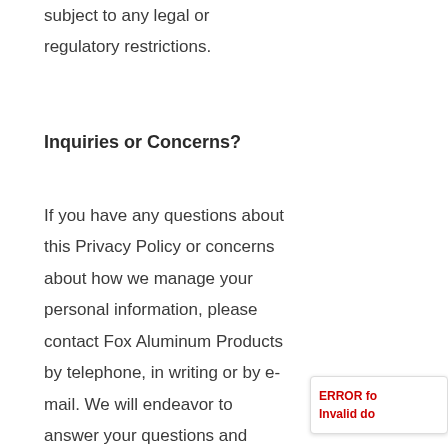subject to any legal or regulatory restrictions.
Inquiries or Concerns?
If you have any questions about this Privacy Policy or concerns about how we manage your personal information, please contact Fox Aluminum Products by telephone, in writing or by e-mail. We will endeavor to answer your questions and advise you of any steps taken to address the issues raised by you. If you are dissatisfied with our response, you may be